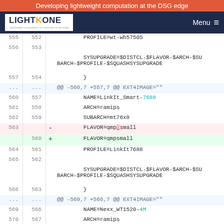Developing lightweight computation at the DSG edge
[Figure (logo): LightKone logo with tagline]
Menu navigation bar
Diff viewer showing code changes including SYSUPGRADE, FLAVOR, PROFILE, NAME, ARCH, SUBARCH lines